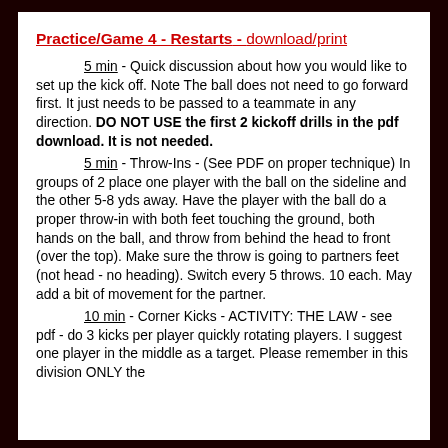Practice/Game 4 - Restarts - download/print
5 min - Quick discussion about how you would like to set up the kick off. Note The ball does not need to go forward first. It just needs to be passed to a teammate in any direction. DO NOT USE the first 2 kickoff drills in the pdf download. It is not needed.
5 min - Throw-Ins - (See PDF on proper technique) In groups of 2 place one player with the ball on the sideline and the other 5-8 yds away. Have the player with the ball do a proper throw-in with both feet touching the ground, both hands on the ball, and throw from behind the head to front (over the top). Make sure the throw is going to partners feet (not head - no heading). Switch every 5 throws. 10 each. May add a bit of movement for the partner.
10 min - Corner Kicks - ACTIVITY: THE LAW - see pdf - do 3 kicks per player quickly rotating players. I suggest one player in the middle as a target. Please remember in this division ONLY the